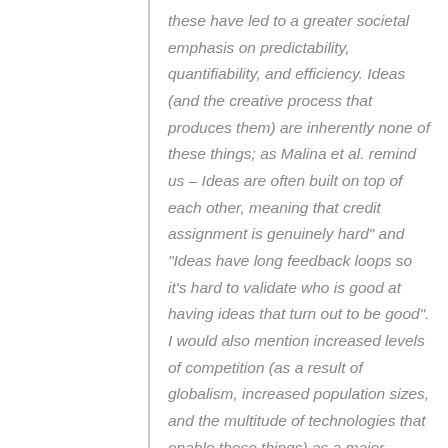these have led to a greater societal emphasis on predictability, quantifiability, and efficiency. Ideas (and the creative process that produces them) are inherently none of these things; as Malina et al. remind us – Ideas are often built on top of each other, meaning that credit assignment is genuinely hard" and "Ideas have long feedback loops so it's hard to validate who is good at having ideas that turn out to be good". I would also mention increased levels of competition (as a result of globalism, increased population sizes, and the multitude of technologies that enable these things) as a major culprit. For any position at a college/graduate school/job you are likely competing with many people who